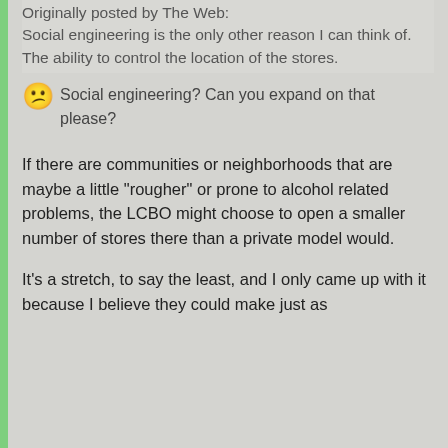Originally posted by The Web: Social engineering is the only other reason I can think of. The ability to control the location of the stores.
😕 Social engineering? Can you expand on that please?
If there are communities or neighborhoods that are maybe a little "rougher" or prone to alcohol related problems, the LCBO might choose to open a smaller number of stores there than a private model would.
It's a stretch, to say the least, and I only came up with it because I believe they could make just as